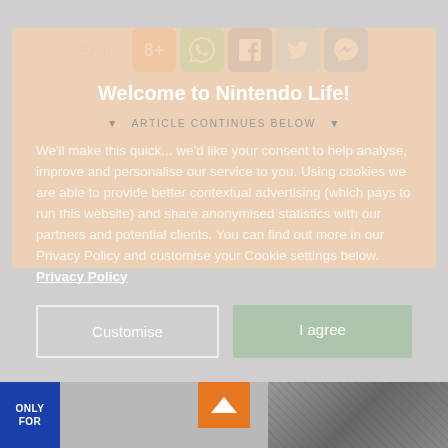[Figure (screenshot): Share bar with social icons: number 8 (orange), WhatsApp (green), Facebook (dark blue), Twitter (light blue), Messenger (blue)]
Welcome to Nintendo Life!
ARTICLE CONTINUES BELOW
We'll make this quick... we'd like your consent to help analyse, improve and personalise our service to you. Using cookies we are able to provide better contextual advertising (which pays to run this website) and share anonymised statistics with our partners and potential clients. You can find out more in our Privacy Policy and customise your Cookie settings below. Privacy Policy
[Figure (screenshot): Two buttons: 'Customise' with white border outline, and 'I agree' with green tinted background]
[Figure (photo): Bottom strip showing a blue badge with 'ONLY FOR' text, an orange scroll-up button, and a greyscale photo on the right]